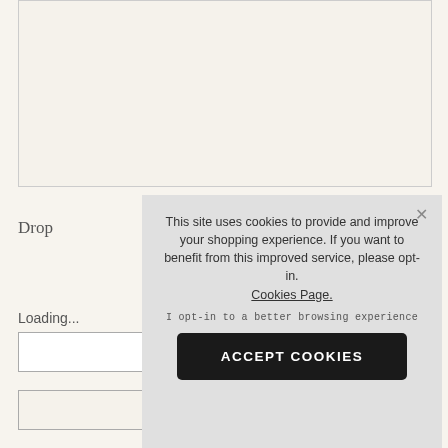[Figure (other): Empty cream-colored image placeholder box with light border]
Drop
Loading...
[Figure (screenshot): Cookie consent overlay popup with text: This site uses cookies to provide and improve your shopping experience. If you want to benefit from this improved service, please opt-in. Cookies Page. I opt-in to a better browsing experience. ACCEPT COOKIES button. Close X button.]
EMAIL A FRIEND